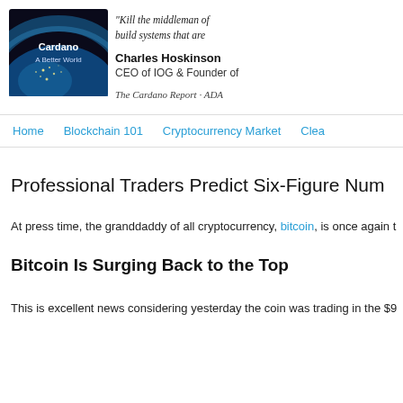[Figure (logo): Cardano A Better World logo — globe/earth image from space with text 'Cardano' and 'A Better World']
"Kill the middleman of build systems that are
Charles Hoskinson
CEO of IOG & Founder of
The Cardano Report · ADA
Home    Blockchain 101    Cryptocurrency Market    Clea
Professional Traders Predict Six-Figure Num
At press time, the granddaddy of all cryptocurrency, bitcoin, is once again t
Bitcoin Is Surging Back to the Top
This is excellent news considering yesterday the coin was trading in the $9